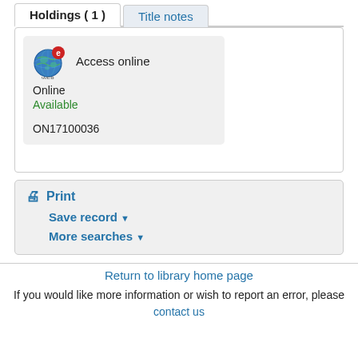Holdings ( 1 )
Title notes
[Figure (screenshot): Web/online resource icon with globe and 'e' badge labeled WEB, followed by 'Access online' text. Below: Online, Available (green), ON17100036]
Print
Save record ▼
More searches ▼
Return to library home page
If you would like more information or wish to report an error, please contact us